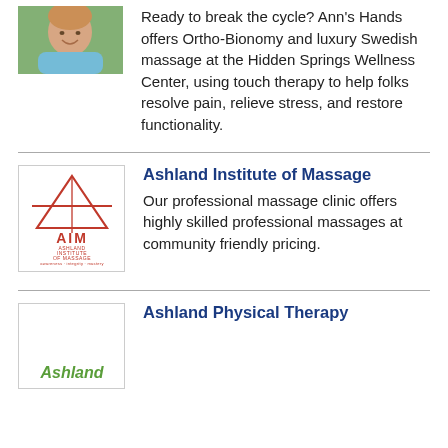[Figure (photo): Photo of a smiling woman outdoors]
Ready to break the cycle? Ann's Hands offers Ortho-Bionomy and luxury Swedish massage at the Hidden Springs Wellness Center, using touch therapy to help folks resolve pain, relieve stress, and restore functionality.
[Figure (logo): AIM - Ashland Institute of Massage logo with red triangle/star graphic]
Ashland Institute of Massage
Our professional massage clinic offers highly skilled professional massages at community friendly pricing.
Ashland Physical Therapy
[Figure (logo): Ashland Physical Therapy logo (partial, bottom cut off)]